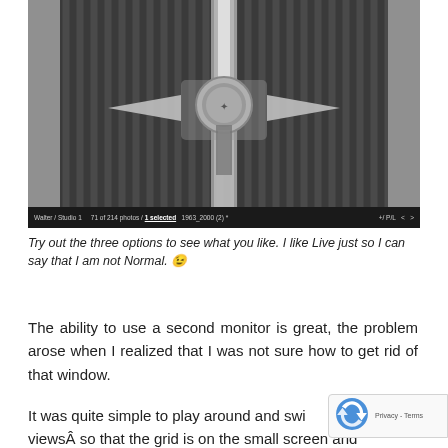[Figure (photo): Black and white close-up photo of a vintage car hood ornament/emblem (Chrysler) on a ribbed chrome grille, with a dark toolbar/status bar at the bottom showing photo selection info.]
Try out the three options to see what you like. I like Live just so I can say that I am not Normal. 😊
The ability to use a second monitor is great, the problem arose when I realized that I was not sure how to get rid of that window.
It was quite simple to play around and swi… views  so that the grid is on the small screen and sized preview on the larger monitor.  The problem was…